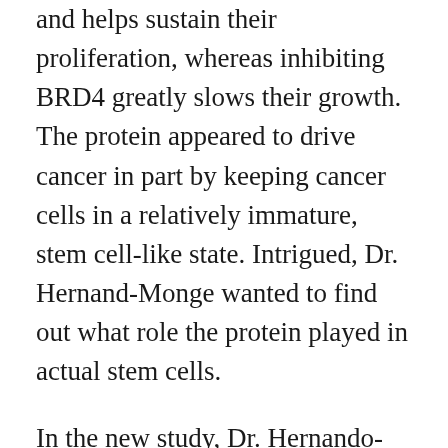and helps sustain their proliferation, whereas inhibiting BRD4 greatly slows their growth. The protein appeared to drive cancer in part by keeping cancer cells in a relatively immature, stem cell-like state. Intrigued, Dr. Hernand-Monge wanted to find out what role the protein played in actual stem cells.
In the new study, Dr. Hernando-Monge's team inhibited BRD4's activity in mouse and human embryonic stem cells using BRD4-blocking compounds developed by collaborator Ming-Ming Zhou and colleagues at the Icahn School of Medicine at Mount Sinai. They also used special RNA molecules that block BRD4 gene transcripts, and observed the cells shift out of the stem cell state. As